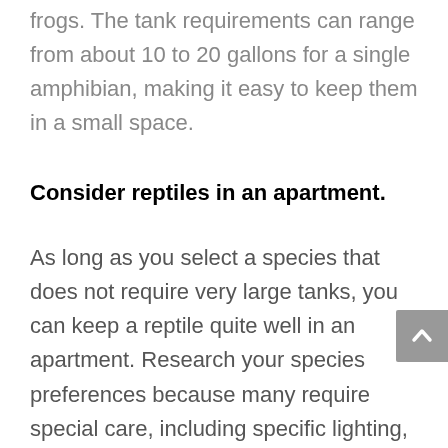frogs. The tank requirements can range from about 10 to 20 gallons for a single amphibian, making it easy to keep them in a small space.
Consider reptiles in an apartment.
As long as you select a species that does not require very large tanks, you can keep a reptile quite well in an apartment. Research your species preferences because many require special care, including specific lighting, humidity, and temperature. Another disadvantage of reptiles is that they need to eat mostly live prey such as cricket, food worms, and rats. Others may eat frozen dead rats and mice. Some potential pet